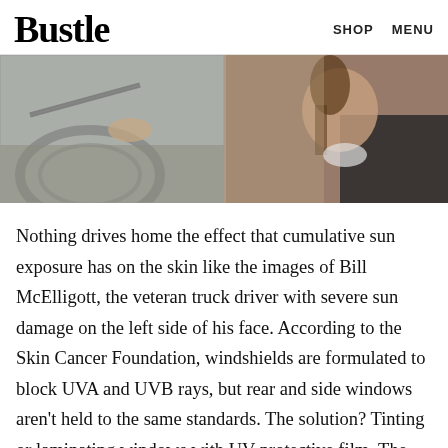Bustle  SHOP  MENU
[Figure (photo): Split image: left side shows a car windshield view with a hand near the steering wheel and wipers; right side shows a person with braided hair looking out a car window.]
Nothing drives home the effect that cumulative sun exposure has on the skin like the images of Bill McElligott, the veteran truck driver with severe sun damage on the left side of his face. According to the Skin Cancer Foundation, windshields are formulated to block UVA and UVB rays, but rear and side windows aren't held to the same standards. The solution? Tinting or laminating windows with UV protective film. The legality of window tinting varies